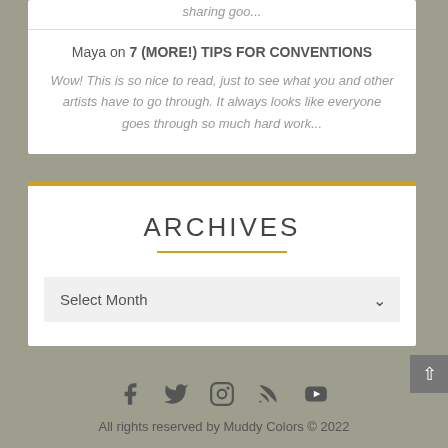sharing goo...
Maya on 7 (MORE!) TIPS FOR CONVENTIONS
Wow! This is so nice to read, just to see what you and other artists have to go through. It always looks like everyone goes through so much hard work...
ARCHIVES
Select Month
All rights reserved by Muddy Colors © 2022